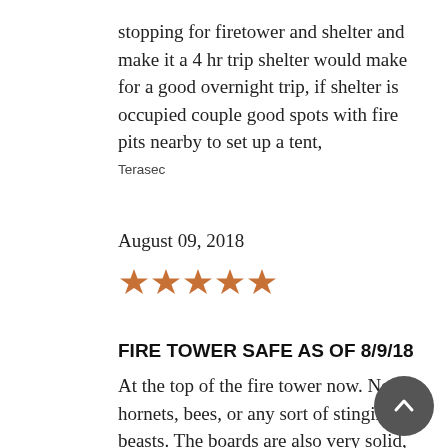stopping for firetower and shelter and make it a 4 hr trip shelter would make for a good overnight trip, if shelter is occupied couple good spots with fire pits nearby to set up a tent,
Terasec
August 09, 2018
[Figure (other): Five orange/brown star rating icons]
FIRE TOWER SAFE AS OF 8/9/18
At the top of the fire tower now. No hornets, bees, or any sort of stinging beasts. The boards are also very solid,